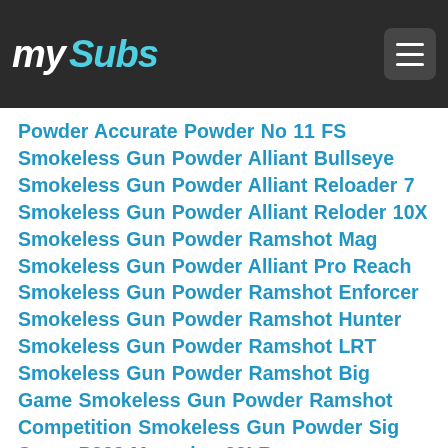My Subs
Powder Accurate Powder No 11 FS Smokeless Gun Powder Alliant Bullseye Smokeless Gun Powder Alliant Reloader 7 Smokeless Gun Powder Alliant Reloder 10X Smokeless Gun Powder Ramshot Mag Smokeless Gun Powder Alliant Pro Reach Smokeless Gun Powder Ramshot Enforcer Smokeless Gun Powder Ramshot Hunter Smokeless Gun Powder Ramshot LRT Smokeless Gun Powder Ramshot Big Game Smokeless Gun Powder Ramshot Competition Smokeless Gun Powder Sig Sauer P322 Magazine 22LR 20rounds/25rounds Hodgdon Hornady LEVERevolution Powder Hodgdon Longshot Smokeless Gun Powder Hodgdon Superformance Smokeless Gun Powder Hodgdon Titewad Smokeless Gun Powder accurate 5744 Smokeless Gun Powder Hodgdon Retumbo Smokeless Gun Powder Hodgdon CFE Pistol Smokeless Gun Powder Hodgdon Universal Smokeless Gun Powder H4831SC 8lbs - Hodgdon Powder Hodgdon Trail Boss Powder Hodgdon BLC2 Powder Hodgdon 800X Powder Winchester Powder AutoComp 8lb Hodgdon Powder - H1000 Hodgdon Powder Co Inc Rifle Powder Winchester 760 Smokeless Powder Winchester 296 Powder